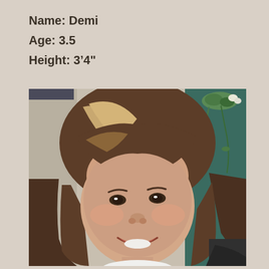Name: Demi
Age: 3.5
Height: 3'4"
[Figure (photo): Close-up photo of a young girl named Demi, approximately 3.5 years old, with long brown hair with blonde highlights and bangs, smiling at the camera. Background shows a light-colored wall and green hanging plant.]